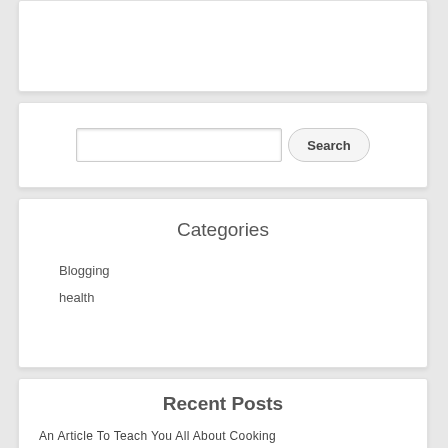[Figure (screenshot): Partial top widget box (content not visible, cropped at top of page)]
Search
Categories
Blogging
health
Recent Posts
An Article To Teach You All About Cooking